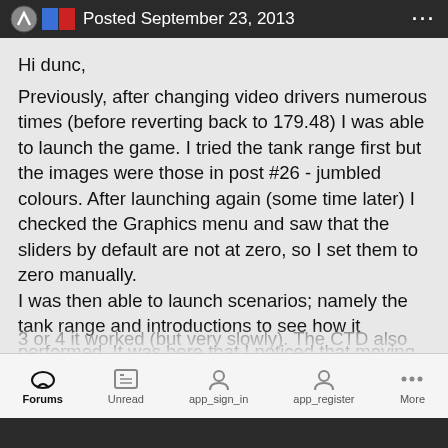Posted September 23, 2013
Hi dunc,
Previously, after changing video drivers numerous times (before reverting back to 179.48) I was able to launch the game. I tried the tank range first but the images were those in post #26 - jumbled colours. After launching again (some time later) I checked the Graphics menu and saw that the sliders by default are not at zero, so I set them to zero manually.
I was then able to launch scenarios; namely the tank range and introductions to see how it performed. It was here that I noticed that moving the Shadows too far crashed the game to desktop but up to about level 3 or 4 it worked (but very slowly). The CTD also came
Forums   Unread   app_sign_in   app_register   More